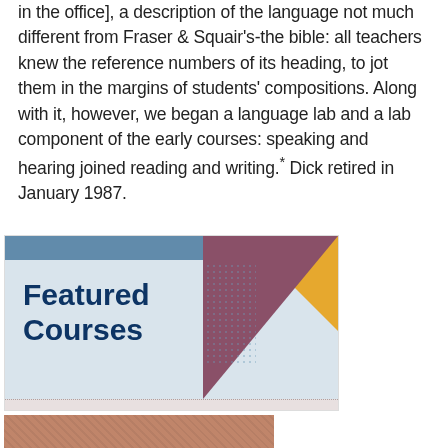in the office], a description of the language not much different from Fraser & Squair's-the bible: all teachers knew the reference numbers of its heading, to jot them in the margins of students' compositions. Along with it, however, we began a language lab and a lab component of the early courses: speaking and hearing joined reading and writing.* Dick retired in January 1987.
[Figure (illustration): Featured Courses promotional card with dark navy top bar, light blue accent bar, gold triangle in top-right corner, mauve/dusty rose triangle in bottom-right, dot pattern overlay, and bold dark navy text reading 'Featured Courses' on a pale blue-grey background.]